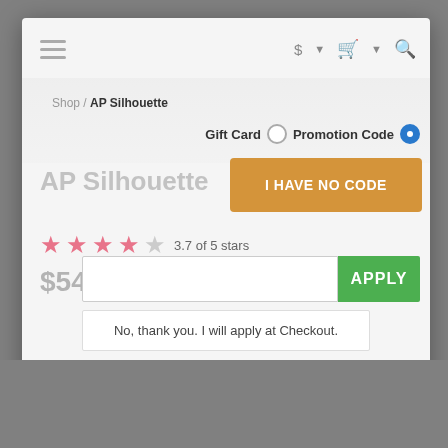[Figure (screenshot): E-commerce product page screenshot showing a promotion code modal overlay on top of an AP Silhouette product page. The modal contains Gift Card / Promotion Code radio buttons with Promotion Code selected, an 'I HAVE NO CODE' orange button, a promo code input field with a green APPLY button, and a 'No, thank you. I will apply at Checkout.' link. The background shows the AP Silhouette product title, star rating (3.7 of 5 stars), and price $54.95. Below the modal is a Size selector dropdown and partial checkout text.]